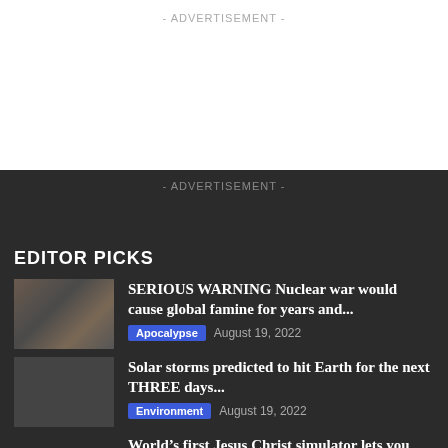- ADVERTISEMENT -
- ADVERTISEMENT -
EDITOR PICKS
SERIOUS WARNING Nuclear war would cause global famine for years and...
Apocalypse   August 19, 2022
Solar storms predicted to hit Earth for the next THREE days...
Environment   August 19, 2022
World’s first Jesus Christ simulator lets you perform miracles and attack...